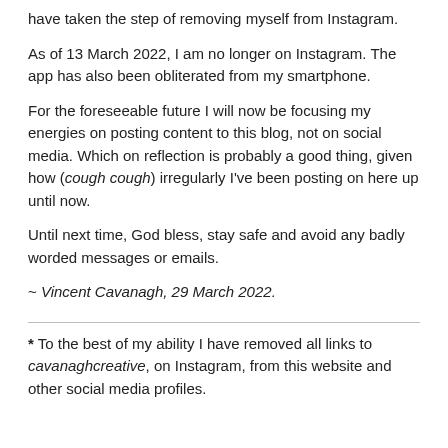have taken the step of removing myself from Instagram.
As of 13 March 2022, I am no longer on Instagram. The app has also been obliterated from my smartphone.
For the foreseeable future I will now be focusing my energies on posting content to this blog, not on social media. Which on reflection is probably a good thing, given how (cough cough) irregularly I've been posting on here up until now.
Until next time, God bless, stay safe and avoid any badly worded messages or emails.
~ Vincent Cavanagh, 29 March 2022.
* To the best of my ability I have removed all links to cavanaghcreative, on Instagram, from this website and other social media profiles.